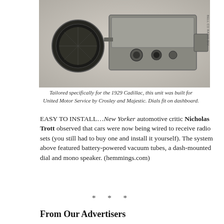[Figure (photo): A vintage car radio unit with a round speaker on the left and a rectangular tuner/amplifier unit on the right, built for a 1929 Cadillac by Crosley and Majestic. Black and white photograph.]
Tailored specifically for the 1929 Cadillac, this unit was built for United Motor Service by Crosley and Majestic. Dials fit on dashboard.
EASY TO INSTALL…New Yorker automotive critic Nicholas Trott observed that cars were now being wired to receive radio sets (you still had to buy one and install it yourself). The system above featured battery-powered vacuum tubes, a dash-mounted dial and mono speaker. (hemmings.com)
* * *
From Our Advertisers
To the refined owner of a Pierce-Arrow, a car radio would have been a crass novelty. After all, your driver was there to drive, and listen to your orders…